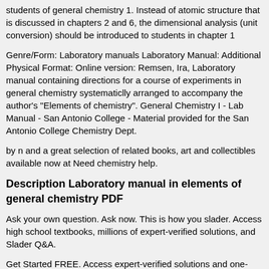students of general chemistry 1. Instead of atomic structure that is discussed in chapters 2 and 6, the dimensional analysis (unit conversion) should be introduced to students in chapter 1
Genre/Form: Laboratory manuals Laboratory Manual: Additional Physical Format: Online version: Remsen, Ira, Laboratory manual containing directions for a course of experiments in general chemistry systematiclly arranged to accompany the author's "Elements of chemistry". General Chemistry I - Lab Manual - San Antonio College - Material provided for the San Antonio College Chemistry Dept.
by n and a great selection of related books, art and collectibles available now at Need chemistry help.
Description Laboratory manual in elements of general chemistry PDF
Ask your own question. Ask now. This is how you slader. Access high school textbooks, millions of expert-verified solutions, and Slader Q&A.
Get Started FREE. Access expert-verified solutions and one-sheeters with no ads. Upgrade $4/mo. Access college textbooks, expert-verified solutions, and one-sheeters.